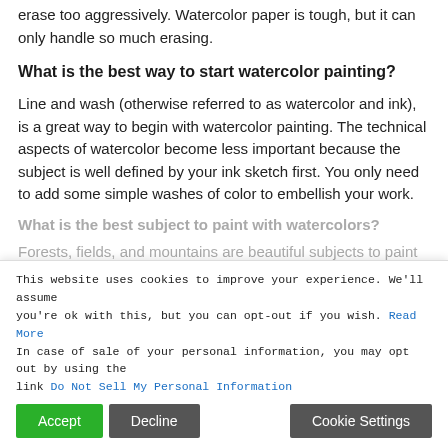erase too aggressively. Watercolor paper is tough, but it can only handle so much erasing.
What is the best way to start watercolor painting?
Line and wash (otherwise referred to as watercolor and ink), is a great way to begin with watercolor painting. The technical aspects of watercolor become less important because the subject is well defined by your ink sketch first. You only need to add some simple washes of color to embellish your work.
What is the best subject to paint with watercolors? (faded/obscured)
Forests, fields, and mountains are beautiful subjects to paint with watercolors. To paint a field of wildflowers or mountains under a blue sky... (faded/obscured)
This website uses cookies to improve your experience. We'll assume you're ok with this, but you can opt-out if you wish. Read More
In case of sale of your personal information, you may opt out by using the link Do Not Sell My Personal Information
Accept | Decline | Cookie Settings